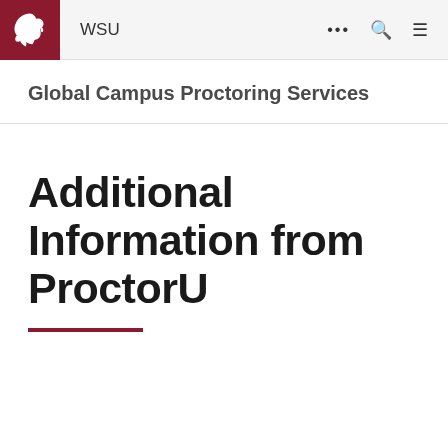WSU
Global Campus Proctoring Services
Additional Information from ProctorU